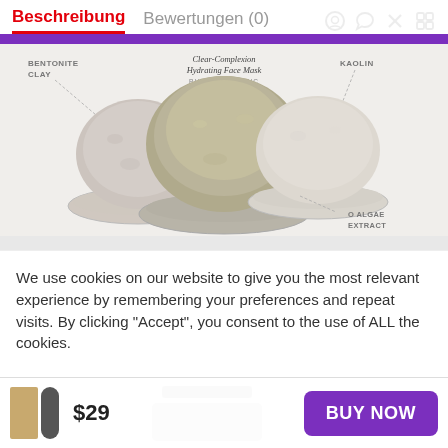Beschreibung   Bewertungen (0)
[Figure (photo): Product photo showing three bowls of clay/powder ingredients (Bentonite Clay, Kaolin, Algae Extract) for a Clear-Complexion Hydrating Face Mask, with labeled callouts]
We use cookies on our website to give you the most relevant experience by remembering your preferences and repeat visits. By clicking “Accept”, you consent to the use of ALL the cookies.
$29   BUY NOW